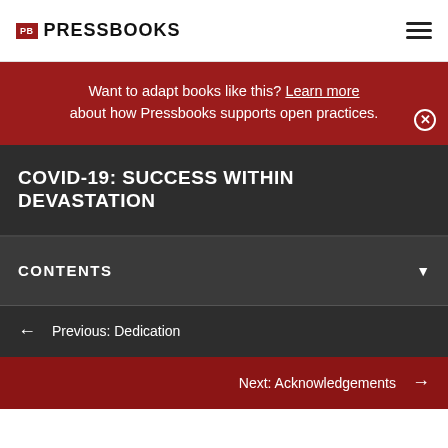PB PRESSBOOKS
Want to adapt books like this? Learn more about how Pressbooks supports open practices.
COVID-19: SUCCESS WITHIN DEVASTATION
CONTENTS
← Previous: Dedication
Next: Acknowledgements →